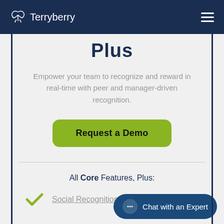Terryberry
Plus
Empower your team to recognize and reward in real-time with peer and manager-driven recognition.
Request a Demo
All Core Features, Plus:
Social Recognition
Chat with an Expert